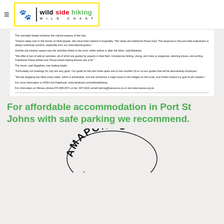Wild Side Hiking – Wild Coast
The overnight breaks enhance the cultural aspects of the trips.
"Visitors sleep over in the homes of tribal people, who have been trained in hospitality. The meals are traditional Xhosa food. The response in the post-hike evaluations is always extremely positive, especially from our international guests."
Another job creation aspect was the activities linked to the tours, either before or after the hikes, said Masilane.
"We offer a host of add-on activities, all of which are guided by experts in their field. Included are fishing, diving, and visits to sangomas, dancing shows, and surfing. Traditional Xhosa dishes and Xhosa bread-making lessons are a hit."
The future, said Nogakisa, was looking bright.
"Fortunately our bookings for July are very good. Our goals for the next three years are to train another 16 or so tour guides that will be permanently employed.
"We are targeting two hikes every week, which is achievable, and that should be a major boost to the villages on the route, and further extend my goal of job creation."
For more information on WSH visit Facebook: www.facebook.com/wildsidehiking
For information on Wessa, phone 074-508-2571 or fax: 307-4210, email training@wessa.co.za or visit www.wessa.org.za
For affordable accommodation in Port St Johns with safe parking we recommend.
[Figure (logo): Amapondo Backpackers logo — circular text with stylized lettering]